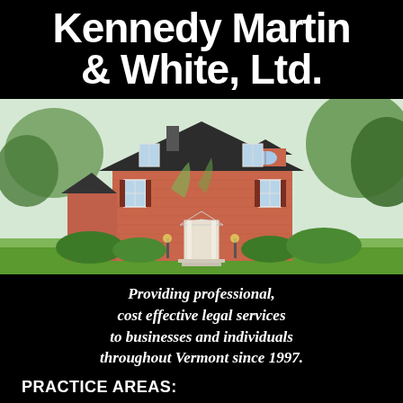Kennedy Martin & White, Ltd.
[Figure (illustration): Watercolor illustration of a red brick colonial-style building with dark roof, white trim, arched window, surrounded by green trees and manicured lawn — appears to be a law office building.]
Providing professional, cost effective legal services to businesses and individuals throughout Vermont since 1997.
PRACTICE AREAS:
Business Organizations, Management and Transactions